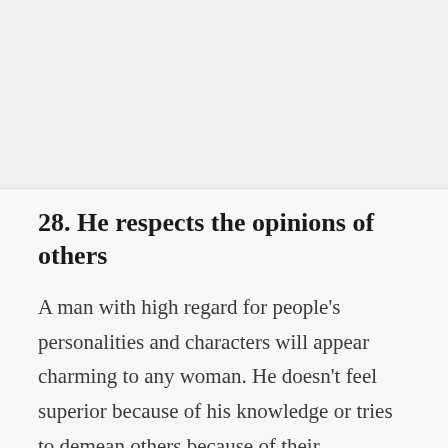[Figure (other): Gray rectangular image placeholder area at the top of the page]
28. He respects the opinions of others
A man with high regard for people's personalities and characters will appear charming to any woman. He doesn't feel superior because of his knowledge or tries to demean others because of their